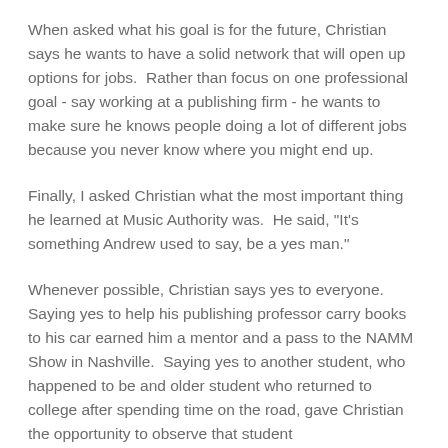When asked what his goal is for the future, Christian says he wants to have a solid network that will open up options for jobs.  Rather than focus on one professional goal - say working at a publishing firm - he wants to make sure he knows people doing a lot of different jobs because you never know where you might end up.
Finally, I asked Christian what the most important thing he learned at Music Authority was.  He said, "It's something Andrew used to say, be a yes man."
Whenever possible, Christian says yes to everyone.  Saying yes to help his publishing professor carry books to his car earned him a mentor and a pass to the NAMM Show in Nashville.  Saying yes to another student, who happened to be and older student who returned to college after spending time on the road, gave Christian the opportunity to observe that student